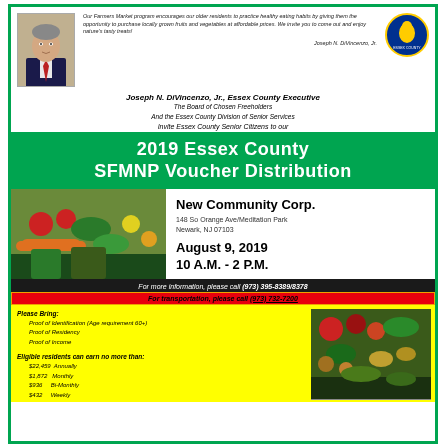Our Farmers Market program encourages our older residents to practice healthy eating habits by giving them the opportunity to purchase locally grown fruits and vegetables at affordable prices. We invite you to come out and enjoy nature's tasty treats!
Joseph N. DiVincenzo, Jr.
Joseph N. DiVincenzo, Jr., Essex County Executive
The Board of Chosen Freeholders
And the Essex County Division of Senior Services
Invite Essex County Senior Citizens to our
2019 Essex County SFMNP Voucher Distribution
New Community Corp.
148 So Orange Ave/Meditation Park
Newark, NJ 07103

August 9, 2019
10 A.M. - 2 P.M.
For more information, please call (973) 395-8389/8378
For transportation, please call (973) 732-7200
Please Bring:
Proof of Identification (Age requirement 60+)
Proof of Residency
Proof of Income

Eligible residents can earn no more than:
$22,459 Annually
$1,872 Monthly
$936 Bi-Monthly
$432 Weekly